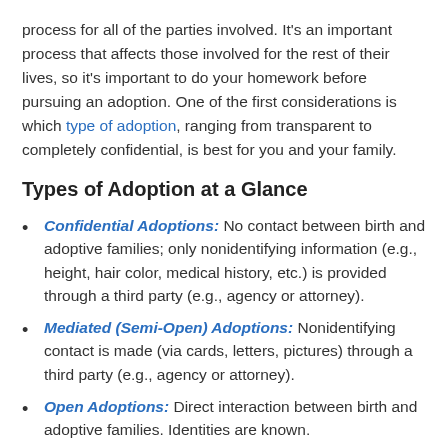process for all of the parties involved. It's an important process that affects those involved for the rest of their lives, so it's important to do your homework before pursuing an adoption. One of the first considerations is which type of adoption, ranging from transparent to completely confidential, is best for you and your family.
Types of Adoption at a Glance
Confidential Adoptions: No contact between birth and adoptive families; only nonidentifying information (e.g., height, hair color, medical history, etc.) is provided through a third party (e.g., agency or attorney).
Mediated (Semi-Open) Adoptions: Nonidentifying contact is made (via cards, letters, pictures) through a third party (e.g., agency or attorney).
Open Adoptions: Direct interaction between birth and adoptive families. Identities are known.